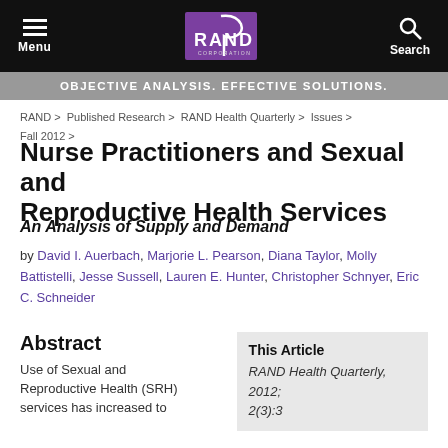Menu | RAND CORPORATION | Search
OBJECTIVE ANALYSIS. EFFECTIVE SOLUTIONS.
RAND > Published Research > RAND Health Quarterly > Issues > Fall 2012 >
Nurse Practitioners and Sexual and Reproductive Health Services
An Analysis of Supply and Demand
by David I. Auerbach, Marjorie L. Pearson, Diana Taylor, Molly Battistelli, Jesse Sussell, Lauren E. Hunter, Christopher Schnyer, Eric C. Schneider
Abstract
Use of Sexual and Reproductive Health (SRH) services has increased to
This Article
RAND Health Quarterly, 2012; 2(3):3